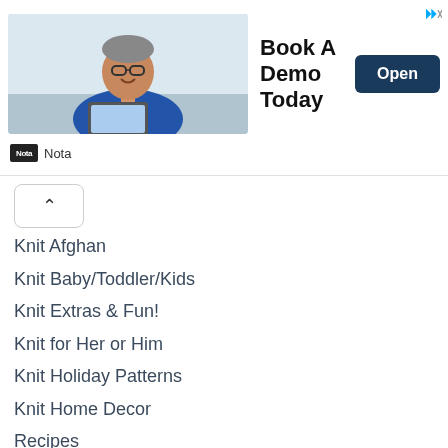[Figure (screenshot): Advertisement banner with photo of man in blue shirt at desk, 'Book A Demo Today' text, Open button, and Nota brand logo]
Knit Afghan
Knit Baby/Toddler/Kids
Knit Extras & Fun!
Knit for Her or Him
Knit Holiday Patterns
Knit Home Decor
Recipes
Spotlight Stitches
Tips & Tricks
Tools
Video Tutorials